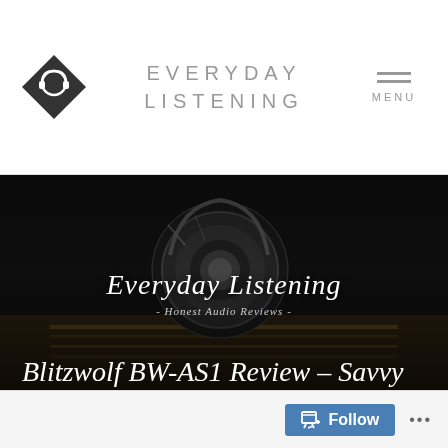[Figure (logo): Diamond-shaped logo with headphone icon, for Everyday Listening site]
EVERYDAY LISTENING
[Figure (photo): Close-up photo of a headphone ear cup against a dark background with bokeh piano keys]
Everyday Listening
Honest Audio Reviews
Blitzwolf BW-AS1 Review – Savvy
DECEMBER 11, 2018   BY RYAN SOO   1 COMMENT
Follow  •••